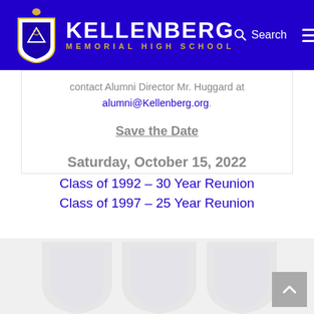Kellenberg Memorial High School
contact Alumni Director Mr. Huggard at alumni@Kellenberg.org.
Save the Date
Saturday, October 15, 2022
Class of 1992 – 30 Year Reunion
Class of 1997 – 25 Year Reunion
[Figure (other): Watermark background with faded shield/crest imagery and scroll-to-top button]